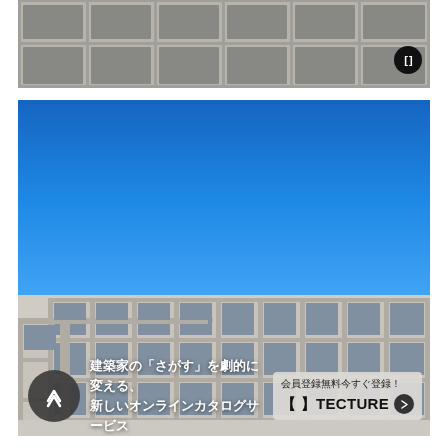[Figure (photo): Close-up of a concrete building facade with rectangular grid pattern, light gray brutalist architecture, viewed from below against white background]
[Figure (photo): Architectural exterior photograph of a multi-story modernist concrete building with a clear blue sky. The building has a grid of windows and balconies. Overlaid at the bottom: navigation arrow button, Japanese advertising text '建築家の「さがす」を劇的に変える、新しいオンラインカタログサービス' and a TECTURE promotional banner '会員登録無料今すぐ登録！【】TECTURE']